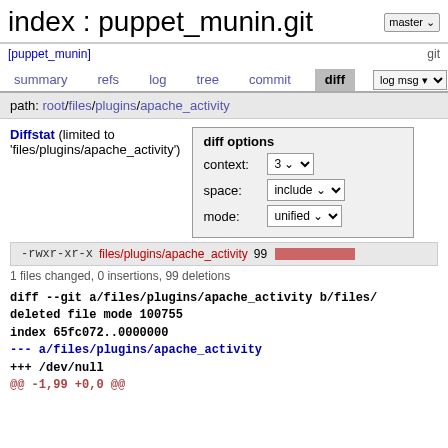index : puppet_munin.git
[puppet_munin]   git
summary   refs   log   tree   commit   diff   log msg ▾
path: root/files/plugins/apache_activity
Diffstat (limited to 'files/plugins/apache_activity')
diff options
context: 3
space: include
mode: unified
-rwxr-xr-x files/plugins/apache_activity 99 [bar]
1 files changed, 0 insertions, 99 deletions
diff --git a/files/plugins/apache_activity b/files/
deleted file mode 100755
index 65fc072..0000000
--- a/files/plugins/apache_activity
+++ /dev/null
@@ -1,99 +0,0 @@